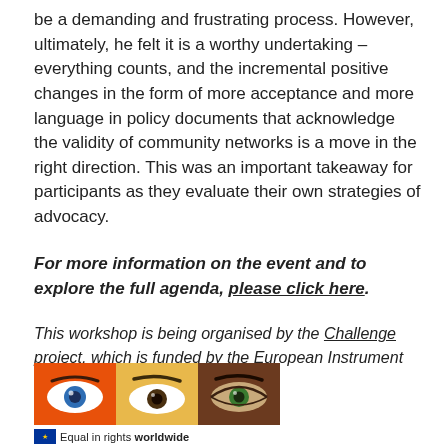be a demanding and frustrating process. However, ultimately, he felt it is a worthy undertaking – everything counts, and the incremental positive changes in the form of more acceptance and more language in policy documents that acknowledge the validity of community networks is a move in the right direction. This was an important takeaway for participants as they evaluate their own strategies of advocacy.
For more information on the event and to explore the full agenda, please click here.
This workshop is being organised by the Challenge project, which is funded by the European Instrument for Democracy and Human Rights.
[Figure (logo): Three eye logos side by side on orange/yellow/brown backgrounds, with EU flag and 'Equal in rights worldwide' text below]